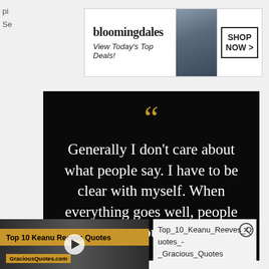[Figure (screenshot): Bloomingdale's advertisement banner: logo, tagline 'View Today's Top Deals!', fashion model with wide-brim hat, 'SHOP NOW >' button]
[Figure (illustration): Black background quote graphic with large gold quotation marks and white serif text: 'Generally I don't care about what people say. I have to be clear with myself. When everything goes well, people celebrate you, when you']
[Figure (screenshot): Embedded video thumbnail: black and white photo of man, orange title bar 'Top 10 Keanu Reeves Quotes', GraciousQuotes.com watermark, play button overlay]
Top_10_Keanu_Reeves_Quotes_-_Gracious_Quotes